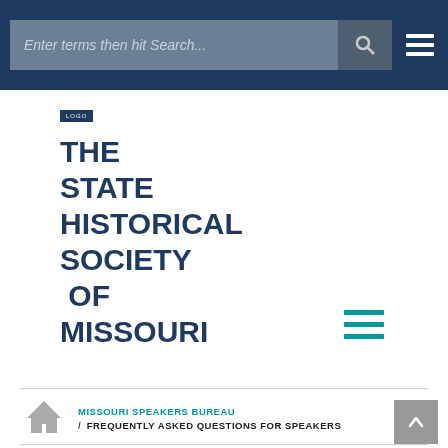Enter terms then hit Search...
THE STATE HISTORICAL SOCIETY OF MISSOURI
[Figure (infographic): Teal hamburger menu icon (three horizontal teal lines)]
MISSOURI SPEAKERS BUREAU / FREQUENTLY ASKED QUESTIONS FOR SPEAKERS
[Figure (illustration): Home/house icon (gray)]
[Figure (other): Back to top button with upward chevron arrow on gray background]